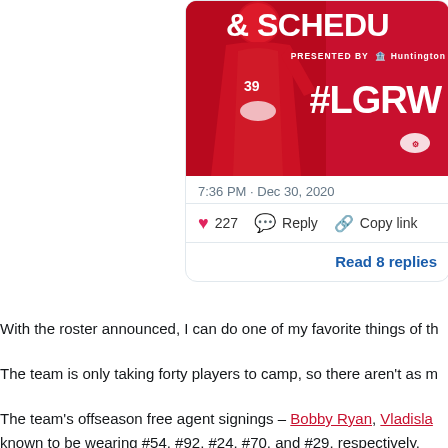[Figure (screenshot): Detroit Red Wings tweet showing a hockey player in red uniform with text '& SCHEDU', 'PRESENTED BY Huntington', '#LGRW' on a red background]
7:36 PM · Dec 30, 2020
❤ 227   Reply   Copy link
Read 8 replies
With the roster announced, I can do one of my favorite things of th
The team is only taking forty players to camp, so there aren't as m
The team's offseason free agent signings – Bobby Ryan, Vladisla
known to be wearing #54, #92, #24, #70, and #29, respectively.